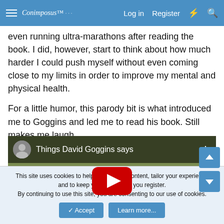Conimposus™  Log in  Register
even running ultra-marathons after reading the book. I did, however, start to think about how much harder I could push myself without even coming close to my limits in order to improve my mental and physical health.
For a little humor, this parody bit is what introduced me to Goggins and led me to read his book. Still makes me laugh.
[Figure (screenshot): YouTube video thumbnail titled 'Things David Goggins says' showing a young man lying face down on the ground, with a YouTube play button overlay and a user avatar in the top left corner.]
This site uses cookies to help personalise content, tailor your experience and to keep you logged in if you register.
By continuing to use this site, you are consenting to our use of cookies.
✓ Accept    Learn more...